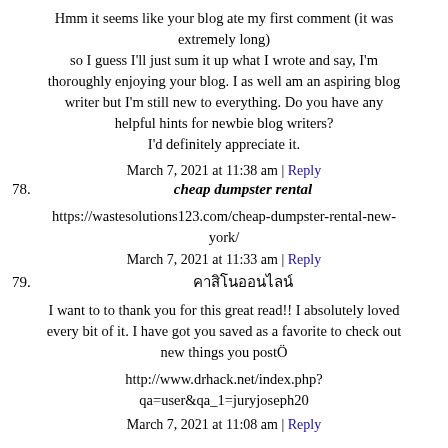Hmm it seems like your blog ate my first comment (it was extremely long) so I guess I'll just sum it up what I wrote and say, I'm thoroughly enjoying your blog. I as well am an aspiring blog writer but I'm still new to everything. Do you have any helpful hints for newbie blog writers? I'd definitely appreciate it.
March 7, 2021 at 11:38 am | Reply
78.   cheap dumpster rental
https://wastesolutions123.com/cheap-dumpster-rental-new-york/
March 7, 2021 at 11:33 am | Reply
79.   คาสิโนออนไลน์
I want to to thank you for this great read!! I absolutely loved every bit of it. I have got you saved as a favorite to check out new things you postÖ
http://www.drhack.net/index.php?qa=user&qa_1=juryjoseph20
March 7, 2021 at 11:08 am | Reply